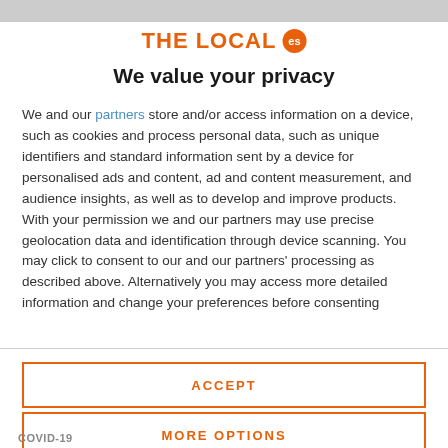THE LOCAL es
We value your privacy
We and our partners store and/or access information on a device, such as cookies and process personal data, such as unique identifiers and standard information sent by a device for personalised ads and content, ad and content measurement, and audience insights, as well as to develop and improve products. With your permission we and our partners may use precise geolocation data and identification through device scanning. You may click to consent to our and our partners' processing as described above. Alternatively you may access more detailed information and change your preferences before consenting
ACCEPT
MORE OPTIONS
COVID-19